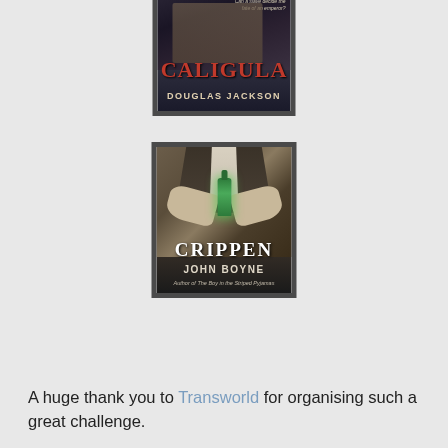[Figure (illustration): Book cover of 'Caligula' by Douglas Jackson. Dark background with dramatic imagery, title in large red letters, author name in gold/cream letters at bottom.]
[Figure (illustration): Book cover of 'Crippen' by John Boyne. Shows a man in a suit holding a small glowing green bottle, title in large white letters, author name below, tagline 'Author of The Boy in the Striped Pyjamas' at the bottom.]
A huge thank you to Transworld for organising such a great challenge.